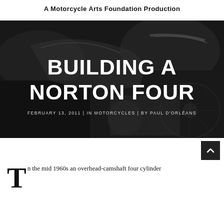A Motorcycle Arts Foundation Production
[Figure (photo): Black and white photograph of a vintage motorcycle, close-up showing engine, chrome tank, handlebars and spoked wheel. Overlaid with article title 'BUILDING A NORTON FOUR', date 'FEBRUARY 13, 2011', category 'IN MOTORCYCLES', and author 'BY PAUL D’ORLÉANS'.]
BUILDING A NORTON FOUR
FEBRUARY 13, 2011  |  IN MOTORCYCLES  |  BY PAUL D’ORLÉANS
In the mid 1960s an overhead-camshaft four cylinder